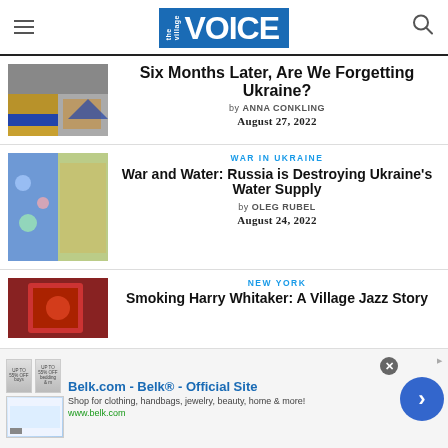the Village VOICE
Six Months Later, Are We Forgetting Ukraine?
by ANNA CONKLING
August 27, 2022
WAR IN UKRAINE
War and Water: Russia is Destroying Ukraine's Water Supply
by OLEG RUBEL
August 24, 2022
NEW YORK
Smoking Harry Whitaker: A Village Jazz Story
[Figure (infographic): Advertisement banner for Belk.com with logo, text, and navigation arrow]